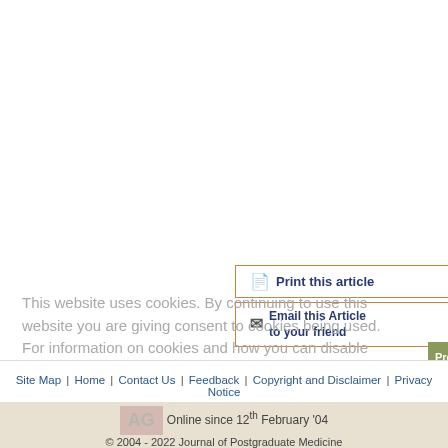and without verified optic disc drusen. A clinical analysis I. Acta Ophthalmol (Copenh) 1983;61:1037-56. [PUBMED]
4. Rubinstein K, Ali M. Retinal complications of optic disc drusen. Br J Ophthalmol 1982;66:83-95. [PUBMED]
5. Lorentzen SE. Drusens of the optic disc, a clinical and genetic study. Acta Ophthalmol (Copenh) 1966;90:1-180.
Print this article
Email this Article to your friend
Previous article
Next article
This website uses cookies. By continuing to use this website you are giving consent to cookies being used. For information on cookies and how you can disable them visit our
Site Map | Home | Contact Us | Feedback | Copyright and Disclaimer | Privacy Notice
Online since 12th February '04
© 2004 - 2022 Journal of Postgraduate Medicine
Official Publication of the Staff Society of the Seth GS Medical College and KEM Hospital, Mumbai, India